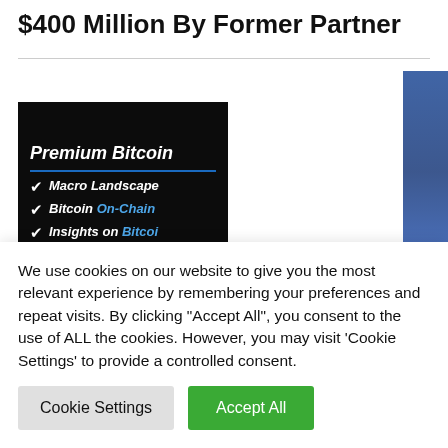$400 Million By Former Partner
[Figure (illustration): Dark-background promotional image for 'Premium Bitcoin' service showing a checklist with items: Macro Landscape, Bitcoin On-Chain [data], Insights on Bitcoin[...]]
As Bitcoin Price Rally Breaks, What Can
We use cookies on our website to give you the most relevant experience by remembering your preferences and repeat visits. By clicking "Accept All", you consent to the use of ALL the cookies. However, you may visit 'Cookie Settings' to provide a controlled consent.
Cookie Settings | Accept All